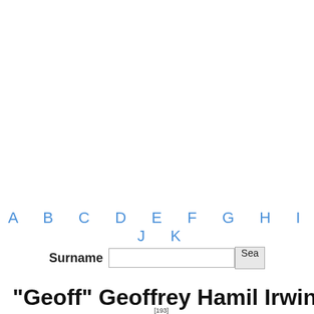A B C D E F G H I J K
Surname  Sea
"Geoff" Geoffrey Hamil Irwin BRO
[193]